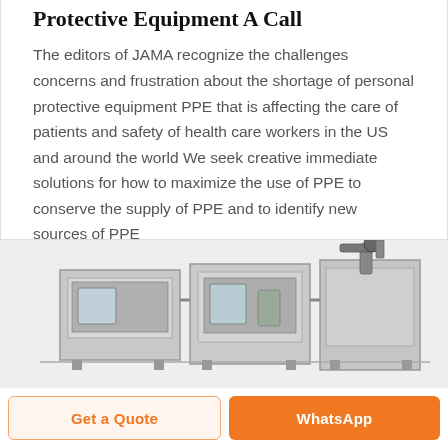Protective Equipment A Call
The editors of JAMA recognize the challenges concerns and frustration about the shortage of personal protective equipment PPE that is affecting the care of patients and safety of health care workers in the US and around the world We seek creative immediate solutions for how to maximize the use of PPE to conserve the supply of PPE and to identify new sources of PPE
[Figure (photo): Industrial machinery equipment, appears to be a manufacturing or sterilization unit, metallic/silver in color with multiple chambers and mechanical components visible]
Get a Quote
WhatsApp